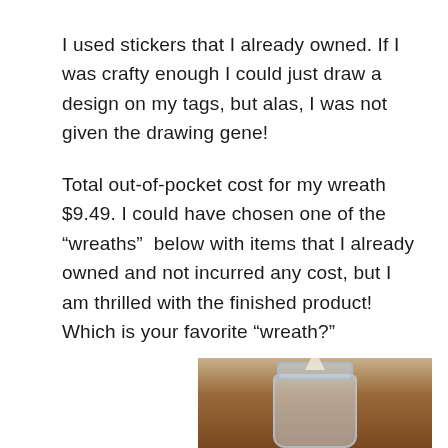I used stickers that I already owned. If I was crafty enough I could just draw a design on my tags, but alas, I was not given the drawing gene!
Total out-of-pocket cost for my wreath $9.49. I could have chosen one of the “wreaths”  below with items that I already owned and not incurred any cost, but I am thrilled with the finished product! Which is your favorite “wreath?”
[Figure (photo): A glass mason jar with a candle inside, sitting on a wooden surface, photographed from slightly above.]